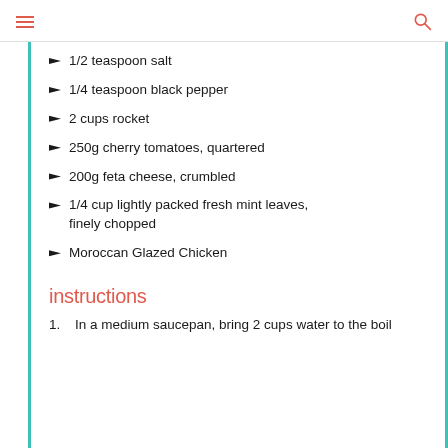navigation header with hamburger menu and search icon
1/2 teaspoon salt
1/4 teaspoon black pepper
2 cups rocket
250g cherry tomatoes, quartered
200g feta cheese, crumbled
1/4 cup lightly packed fresh mint leaves, finely chopped
Moroccan Glazed Chicken
instructions
1. In a medium saucepan, bring 2 cups water to the boil